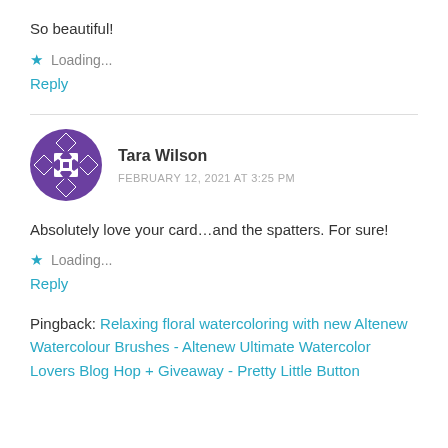So beautiful!
Loading...
Reply
Tara Wilson
FEBRUARY 12, 2021 AT 3:25 PM
Absolutely love your card…and the spatters. For sure!
Loading...
Reply
Pingback: Relaxing floral watercoloring with new Altenew Watercolour Brushes - Altenew Ultimate Watercolor Lovers Blog Hop + Giveaway - Pretty Little Button